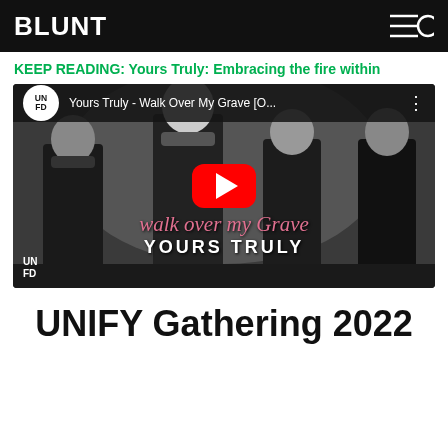BLUNT
KEEP READING: Yours Truly: Embracing the fire within
[Figure (screenshot): YouTube video thumbnail for 'Yours Truly - Walk Over My Grave [O...' showing the band members in black and white with the text 'walk over my grave' in pink cursive and 'YOURS TRULY' in bold white, featuring the YouTube play button overlay and UNFD logo]
UNIFY Gathering 2022